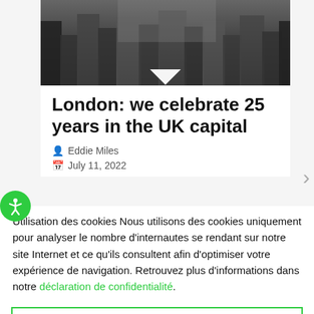[Figure (photo): Photograph of people at an event, partially visible at the top of the page]
London: we celebrate 25 years in the UK capital
Eddie Miles
July 11, 2022
Utilisation des cookies Nous utilisons des cookies uniquement pour analyser le nombre d'internautes se rendant sur notre site Internet et ce qu'ils consultent afin d'optimiser votre expérience de navigation. Retrouvez plus d'informations dans notre déclaration de confidentialité.
Accepter et continuer